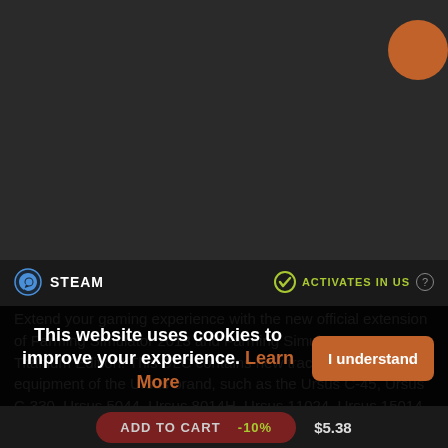[Figure (screenshot): Steam store page screenshot showing dark background with orange circle accent in top right corner]
STEAM   ACTIVATES IN US  ?
Extend your gaming experience with the new official extension of Farming Simulator 2013 and Farming Simulator 2013 Titanium Edition! This DLC contains new tractors and equipment of the Ursus brand, such as the Ursus C-45, Ursus C-330, Ursus 5044, Ursus 8014H, Ursus 11024, Ursus 15014 and many more!
This website uses cookies to improve your experience. Learn More
I understand
ADD TO CART  -10%   $5.38